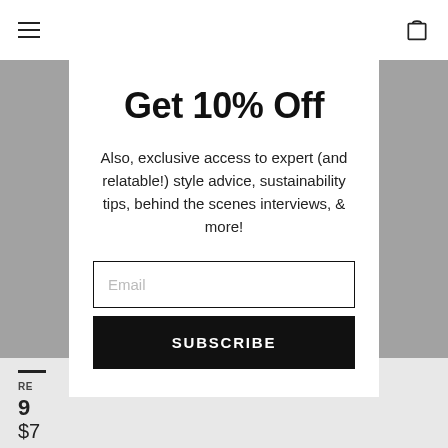Navigation bar with hamburger menu and cart icon
Get 10% Off
Also, exclusive access to expert (and relatable!) style advice, sustainability tips, behind the scenes interviews, & more!
Email
SUBSCRIBE
RE...
9...
$7...